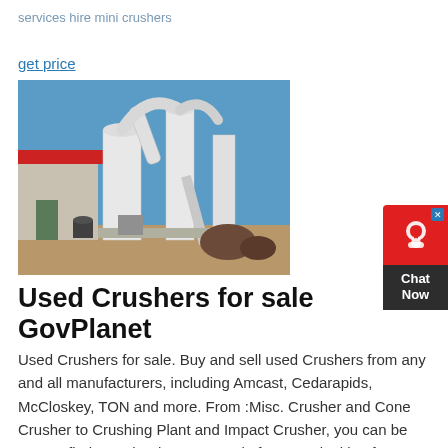services hire mini crushers
get price
[Figure (photo): Industrial crushing plant equipment with white silos, pipes, and machinery outdoors against a blue sky, with a red-roofed building in the background.]
[Figure (other): Chat Now widget with red top section containing a headset icon and close button, and dark bottom section with 'Chat Now' text.]
Used Crushers for sale GovPlanet
Used Crushers for sale. Buy and sell used Crushers from any and all manufacturers, including Amcast, Cedarapids, McCloskey, TON and more. From :Misc. Crusher and Cone Crusher to Crushing Plant and Impact Crusher, you can be sure to find exactly what you need. If you are looking for a used